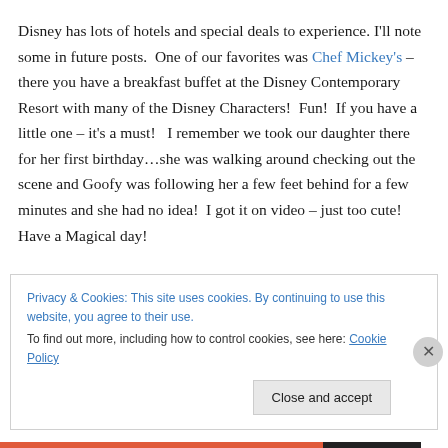Disney has lots of hotels and special deals to experience. I'll note some in future posts.  One of our favorites was Chef Mickey's – there you have a breakfast buffet at the Disney Contemporary Resort with many of the Disney Characters!  Fun!  If you have a little one – it's a must!   I remember we took our daughter there for her first birthday…she was walking around checking out the scene and Goofy was following her a few feet behind for a few minutes and she had no idea!  I got it on video – just too cute!   Have a Magical day!
Privacy & Cookies: This site uses cookies. By continuing to use this website, you agree to their use.
To find out more, including how to control cookies, see here: Cookie Policy
Close and accept